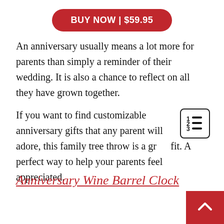BUY NOW | $59.95
An anniversary usually means a lot more for parents than simply a reminder of their wedding. It is also a chance to reflect on all they have grown together.
If you want to find customizable anniversary gifts that any parent will adore, this family tree throw is a great fit. A perfect way to help your parents feel appreciated.
Anniversary Wine Barrel Clock